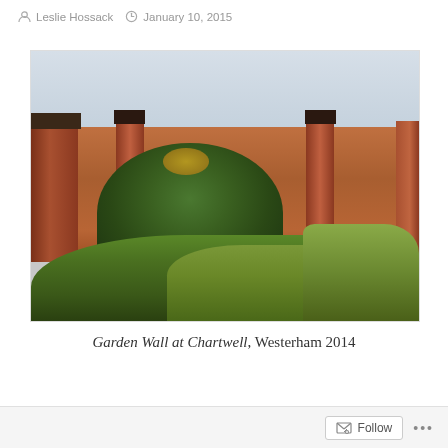Leslie Hossack  January 10, 2015
[Figure (photo): Photograph of a red brick garden wall with climbing plants and a tree espalier at Chartwell, Westerham. The wall has pilasters with dark slate caps. Green shrubs and plants fill the foreground. Overcast sky in background.]
Garden Wall at Chartwell, Westerham 2014
Follow ...